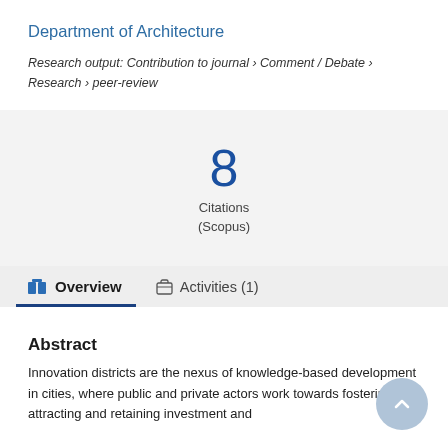Department of Architecture
Research output: Contribution to journal › Comment / Debate › Research › peer-review
8
Citations
(Scopus)
Overview   Activities (1)
Abstract
Innovation districts are the nexus of knowledge-based development in cities, where public and private actors work towards fostering, attracting and retaining investment and